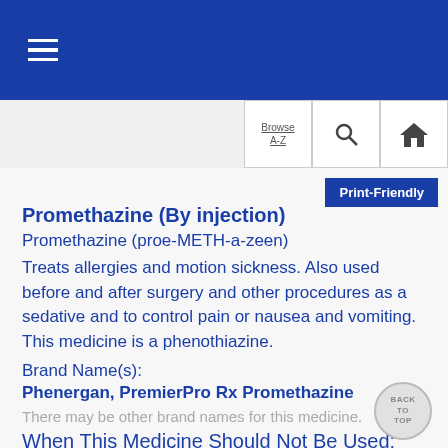☰ (navigation menu)
[Figure (screenshot): Navigation bar with Browse A-Z, Search (magnifying glass), and Home (house) icon buttons]
Promethazine (By injection)
Promethazine (proe-METH-a-zeen)
Treats allergies and motion sickness. Also used before and after surgery and other procedures as a sedative and to control pain or nausea and vomiting. This medicine is a phenothiazine.
Brand Name(s):
Phenergan, PremierPro Rx Promethazine
There may be other brand names for this medicine.
When This Medicine Should Not Be Used:
This medicine is not right for everyone. You should not receive it if you had an allergic reaction to promethazine